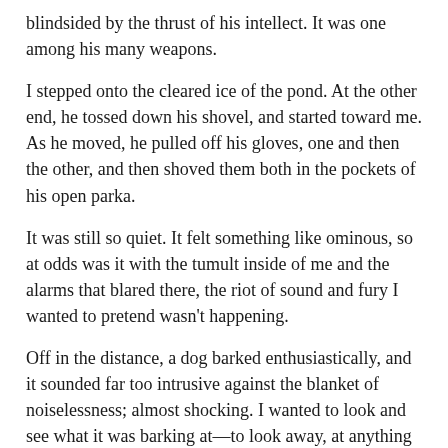blindsided by the thrust of his intellect. It was one among his many weapons.
I stepped onto the cleared ice of the pond. At the other end, he tossed down his shovel, and started toward me. As he moved, he pulled off his gloves, one and then the other, and then shoved them both in the pockets of his open parka.
It was still so quiet. It felt something like ominous, so at odds was it with the tumult inside of me and the alarms that blared there, the riot of sound and fury I wanted to pretend wasn’t happening.
Off in the distance, a dog barked enthusiastically, and it sounded far too intrusive against the blanket of noiselessness; almost shocking. I wanted to look and see what it was barking at—to look away, at anything else, at anything at all but him—but I couldn’t seem to move so much as a muscle. There was only Alec, all these years later, walking toward me in that way of his, so distractingly loose-limbed with that suggestion of athletic ease in every step. There was only that same impossibly intelligent face of his, older now, more weathered,